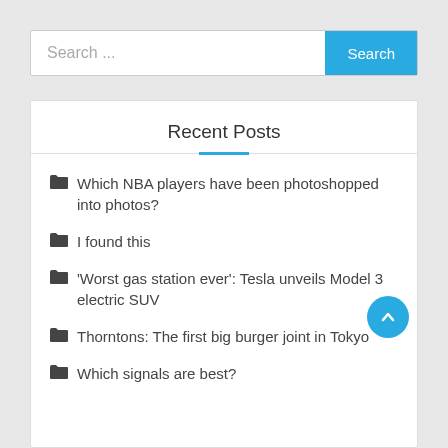[Figure (screenshot): Search bar with text 'Search ...' and a blue 'Search' button on the right]
Recent Posts
Which NBA players have been photoshopped into photos?
I found this
'Worst gas station ever': Tesla unveils Model 3 electric SUV
Thorntons: The first big burger joint in Tokyo
Which signals are best?